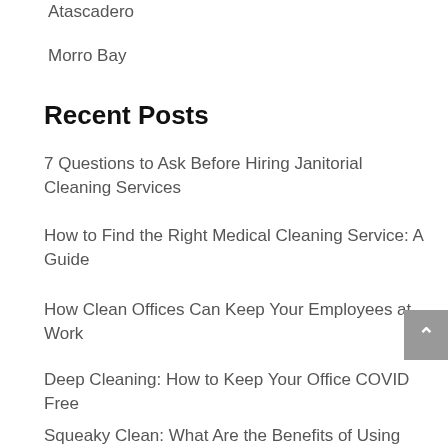Atascadero
Morro Bay
Recent Posts
7 Questions to Ask Before Hiring Janitorial Cleaning Services
How to Find the Right Medical Cleaning Service: A Guide
How Clean Offices Can Keep Your Employees at Work
Deep Cleaning: How to Keep Your Office COVID Free
Squeaky Clean: What Are the Benefits of Using Medical Facility Cleaning Services?